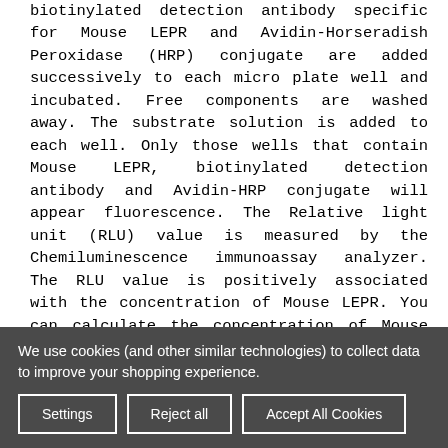biotinylated detection antibody specific for Mouse LEPR and Avidin-Horseradish Peroxidase (HRP) conjugate are added successively to each micro plate well and incubated. Free components are washed away. The substrate solution is added to each well. Only those wells that contain Mouse LEPR, biotinylated detection antibody and Avidin-HRP conjugate will appear fluorescence. The Relative light unit (RLU) value is measured by the Chemiluminescence immunoassay analyzer. The RLU value is positively associated with the concentration of Mouse LEPR. You can calculate the concentration of Mouse LEPR in the samples by comparing the RLU value of the samples to the standard curve.
Specificity: This kit recognizes Mouse LEPR in samples. No significant cross-reactivity or interference between Mouse LEPR and analogues was observed.
We use cookies (and other similar technologies) to collect data to improve your shopping experience.